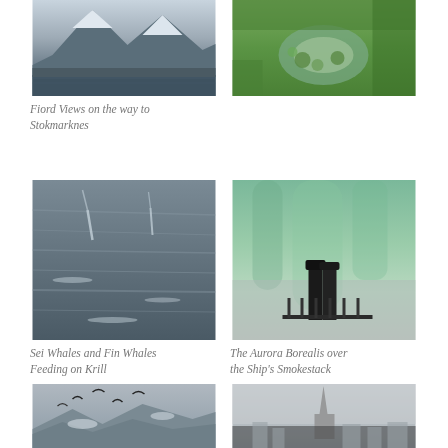[Figure (photo): Snowy mountain peaks and fiord with dark water in foreground]
[Figure (photo): Green lily pad pond with lush vegetation]
Fiord Views on the way to Stokmarknes
[Figure (photo): Dark grey ocean with whale spouts visible on the surface]
[Figure (photo): Aurora Borealis (green northern lights) above a ship's smokestack silhouette]
Sei Whales and Fin Whales Feeding on Krill
The Aurora Borealis over the Ship's Smokestack
[Figure (photo): Birds flying over snowy rocky terrain in grey sky]
[Figure (photo): City skyline with tall church spire in misty grey atmosphere]